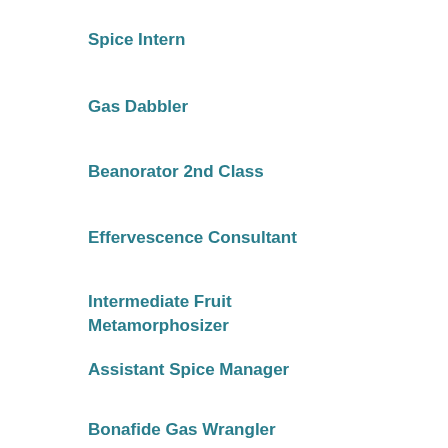Spice Intern
Gas Dabbler
Beanorator 2nd Class
Effervescence Consultant
Intermediate Fruit Metamorphosizer
Assistant Spice Manager
Bonafide Gas Wrangler